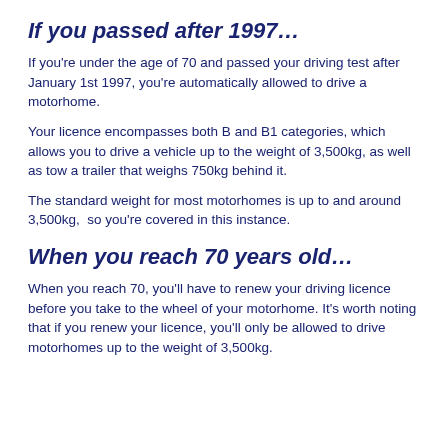If you passed after 1997…
If you're under the age of 70 and passed your driving test after January 1st 1997, you're automatically allowed to drive a motorhome.
Your licence encompasses both B and B1 categories, which allows you to drive a vehicle up to the weight of 3,500kg, as well as tow a trailer that weighs 750kg behind it.
The standard weight for most motorhomes is up to and around 3,500kg,  so you're covered in this instance.
When you reach 70 years old…
When you reach 70, you'll have to renew your driving licence before you take to the wheel of your motorhome. It's worth noting that if you renew your licence, you'll only be allowed to drive motorhomes up to the weight of 3,500kg.